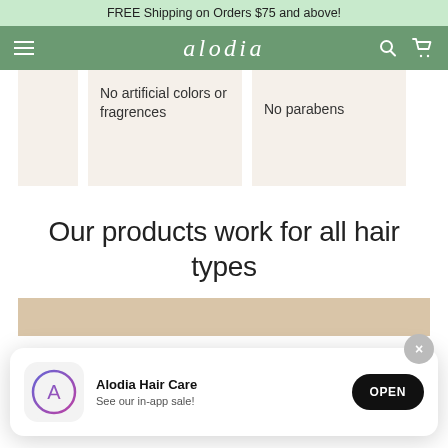FREE Shipping on Orders $75 and above!
alodia
No artificial colors or fragrences
No parabens
Our products work for all hair types
[Figure (screenshot): App download banner: Alodia Hair Care app icon with gradient circle (App Store), text 'Alodia Hair Care / See our in-app sale!', and black OPEN button. Close X button top right.]